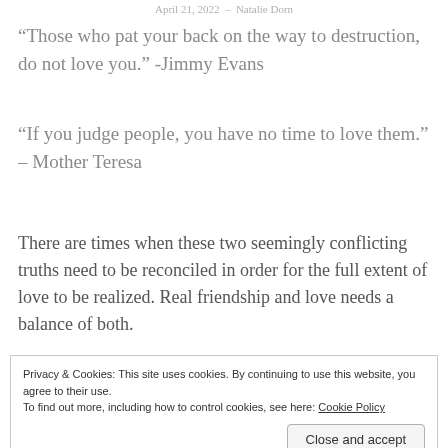April 21, 2022 – Natalie Dorn
“Those who pat your back on the way to destruction, do not love you.” -Jimmy Evans
“If you judge people, you have no time to love them.” – Mother Teresa
There are times when these two seemingly conflicting truths need to be reconciled in order for the full extent of love to be realized. Real friendship and love needs a balance of both.
Privacy & Cookies: This site uses cookies. By continuing to use this website, you agree to their use.
To find out more, including how to control cookies, see here: Cookie Policy
Close and accept